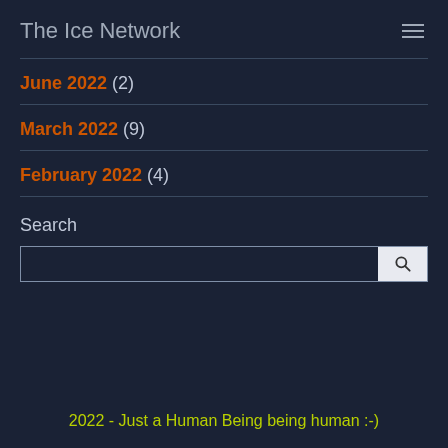The Ice Network
June 2022 (2)
March 2022 (9)
February 2022 (4)
Search
2022 - Just a Human Being being human :-)